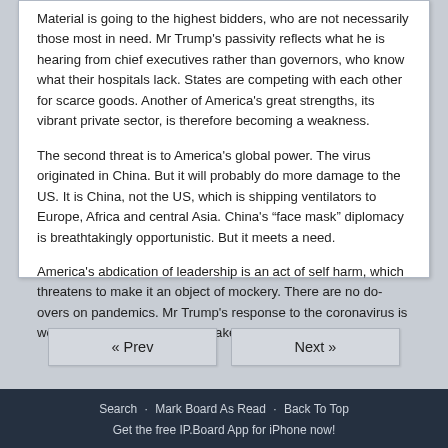Material is going to the highest bidders, who are not necessarily those most in need. Mr Trump’s passivity reflects what he is hearing from chief executives rather than governors, who know what their hospitals lack. States are competing with each other for scarce goods. Another of America’s great strengths, its vibrant private sector, is therefore becoming a weakness.
The second threat is to America’s global power. The virus originated in China. But it will probably do more damage to the US. It is China, not the US, which is shipping ventilators to Europe, Africa and central Asia. China’s “face mask” diplomacy is breathtakingly opportunistic. But it meets a need.
America’s abdication of leadership is an act of self harm, which threatens to make it an object of mockery. There are no do-overs on pandemics. Mr Trump’s response to the coronavirus is worse than a crime. It is a mistake.
Search · Mark Board As Read · Back To Top
Get the free IP.Board App for iPhone now!